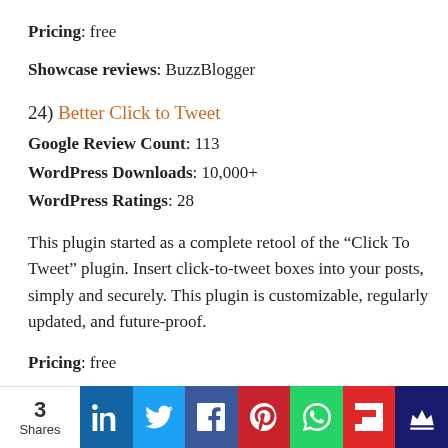Pricing: free
Showcase reviews: BuzzBlogger
24) Better Click to Tweet
Google Review Count: 113
WordPress Downloads: 10,000+
WordPress Ratings: 28
This plugin started as a complete retool of the “Click To Tweet” plugin. Insert click-to-tweet boxes into your posts, simply and securely. This plugin is customizable, regularly updated, and future-proof.
Pricing: free
3 Shares | LinkedIn | Twitter | Facebook | Pinterest | WhatsApp | Flipboard | Crown